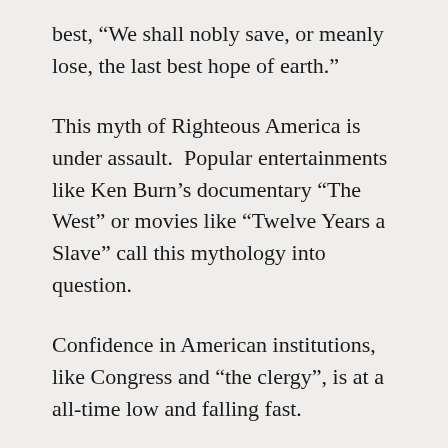best, “We shall nobly save, or meanly lose, the last best hope of earth.”
This myth of Righteous America is under assault.  Popular entertainments like Ken Burn’s documentary “The West” or movies like “Twelve Years a Slave” call this mythology into question.
Confidence in American institutions, like Congress and “the clergy”, is at a all-time low and falling fast.
And now we are told that global warming is a product of the unfettered economic dynamism that we have hailed as America’s gift to the